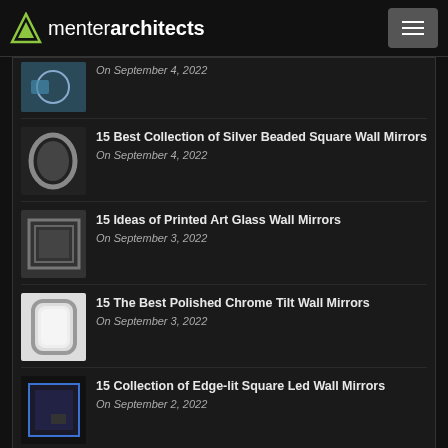menter architects
On September 4, 2022
15 Best Collection of Silver Beaded Square Wall Mirrors
On September 4, 2022
15 Ideas of Printed Art Glass Wall Mirrors
On September 3, 2022
15 The Best Polished Chrome Tilt Wall Mirrors
On September 3, 2022
15 Collection of Edge-lit Square Led Wall Mirrors
On September 2, 2022
Popular Posts